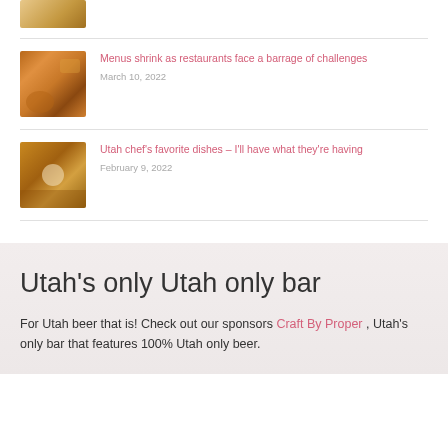[Figure (photo): Partial food thumbnail at top of page, mostly cropped]
(partial date text, cut off at top)
[Figure (photo): Thumbnail of a burger/sandwich dish]
Menus shrink as restaurants face a barrage of challenges
March 10, 2022
[Figure (photo): Thumbnail of a bowl of soup/stew dish]
Utah chef's favorite dishes – I'll have what they're having
February 9, 2022
Utah's only Utah only bar
For Utah beer that is! Check out our sponsors Craft By Proper , Utah's only bar that features 100% Utah only beer.